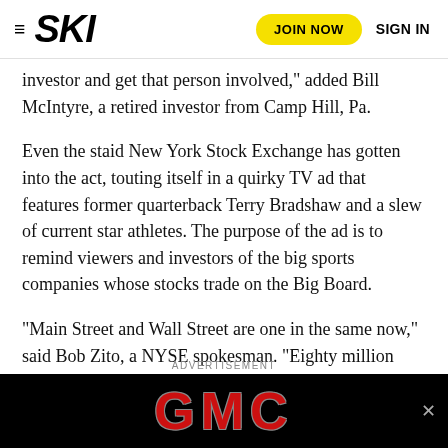SKI — JOIN NOW  SIGN IN
investor and get that person involved," added Bill McIntyre, a retired investor from Camp Hill, Pa.
Even the staid New York Stock Exchange has gotten into the act, touting itself in a quirky TV ad that features former quarterback Terry Bradshaw and a slew of current star athletes. The purpose of the ad is to remind viewers and investors of the big sports companies whose stocks trade on the Big Board.
“Main Street and Wall Street are one in the same now,” said Bob Zito, a NYSE spokesman. “Eighty million Americans own stock directly now and those investors recognize those athletes.”
ADVERTISEMENT
[Figure (logo): GMC logo advertisement banner on black background with red metallic lettering]